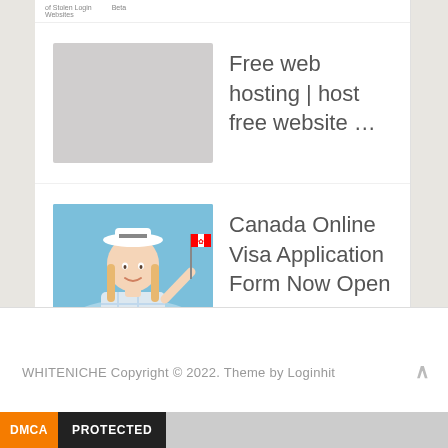Free web hosting | host free website …
Canada Online Visa Application Form Now Open …
WHITENICHE Copyright © 2022. Theme by Loginhit
[Figure (screenshot): DMCA Protected badge with orange DMCA label and black PROTECTED label]